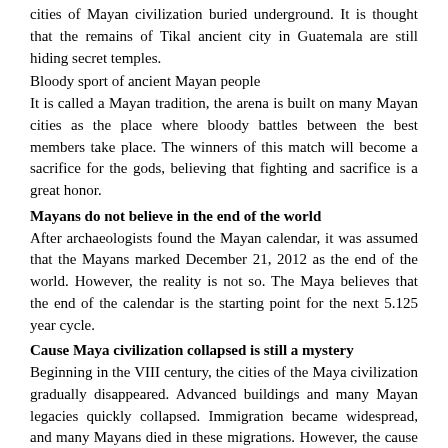cities of Mayan civilization buried underground. It is thought that the remains of Tikal ancient city in Guatemala are still hiding secret temples.
Bloody sport of ancient Mayan people
It is called a Mayan tradition, the arena is built on many Mayan cities as the place where bloody battles between the best members take place. The winners of this match will become a sacrifice for the gods, believing that fighting and sacrifice is a great honor.
Mayans do not believe in the end of the world
After archaeologists found the Mayan calendar, it was assumed that the Mayans marked December 21, 2012 as the end of the world. However, the reality is not so. The Maya believes that the end of the calendar is the starting point for the next 5.125 year cycle.
Cause Maya civilization collapsed is still a mystery
Beginning in the VIII century, the cities of the Maya civilization gradually disappeared. Advanced buildings and many Mayan legacies quickly collapsed. Immigration became widespread, and many Mayans died in these migrations. However, the cause of the Mayan civilization collapse is still unknown.
Some scientists believe that Maya civilization collapsed due to the emergence of invasions. Others said that the population is too high, leading to changes in the climate and the environment is